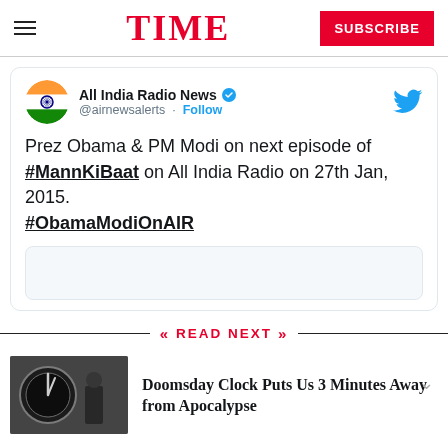TIME — SUBSCRIBE
[Figure (screenshot): Tweet from All India Radio News (@airnewsalerts) with verified badge and Follow button. Tweet text: Prez Obama & PM Modi on next episode of #MannKiBaat on All India Radio on 27th Jan, 2015. #ObamaModiOnAIR]
READ NEXT
Doomsday Clock Puts Us 3 Minutes Away from Apocalypse